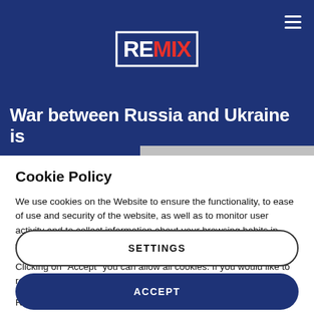REMIX
War between Russia and Ukraine is
Cookie Policy
We use cookies on the Website to ensure the functionality, to ease of use and security of the website, as well as to monitor user activity and to collect information about your browsing habits in order to make advertising relevant to you and your interests.
Clicking on "Accept" you can allow all cookies. If you would like to reject or customize, please click on "Settings".
Read more: Cookie Policy
SETTINGS
ACCEPT